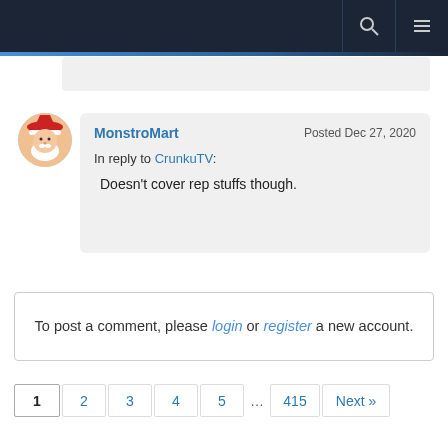Navigation bar with search and menu icons
MonstroMart — Posted Dec 27, 2020
In reply to CrunkuTV:
Doesn't cover rep stuffs though.
To post a comment, please login or register a new account.
1  2  3  4  5  ...  415  Next »